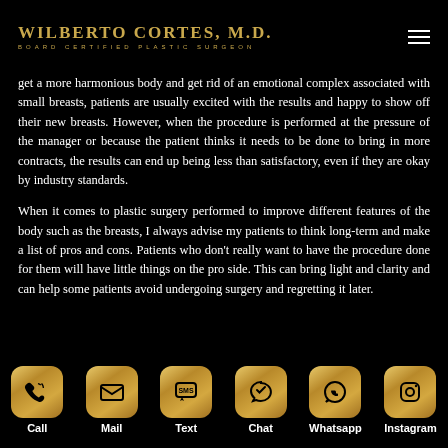WILBERTO CORTES, M.D. BOARD CERTIFIED PLASTIC SURGEON
get a more harmonious body and get rid of an emotional complex associated with small breasts, patients are usually excited with the results and happy to show off their new breasts. However, when the procedure is performed at the pressure of the manager or because the patient thinks it needs to be done to bring in more contracts, the results can end up being less than satisfactory, even if they are okay by industry standards.
When it comes to plastic surgery performed to improve different features of the body such as the breasts, I always advise my patients to think long-term and make a list of pros and cons. Patients who don't really want to have the procedure done for them will have little things on the pro side. This can bring light and clarity and can help some patients avoid undergoing surgery and regretting it later.
Call | Mail | Text | Chat | Whatsapp | Instagram